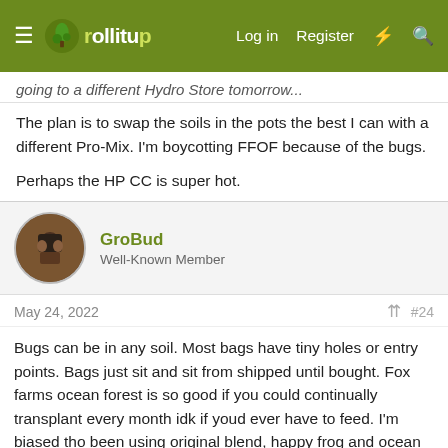rollitup — Log in  Register
going to a different Hydro Store tomorrow...
The plan is to swap the soils in the pots the best I can with a different Pro-Mix. I'm boycotting FFOF because of the bugs.
Perhaps the HP CC is super hot.
GroBud
Well-Known Member
May 24, 2022  #24
Bugs can be in any soil. Most bags have tiny holes or entry points. Bags just sit and sit from shipped until bought. Fox farms ocean forest is so good if you could continually transplant every month idk if youd ever have to feed. I'm biased tho been using original blend, happy frog and ocean forest for many years.
rmax